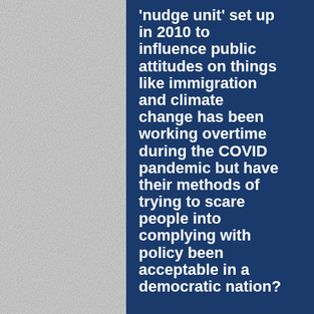[Figure (photo): Light grey textured background resembling embossed paper or fabric, occupying the left portion of the page.]
'nudge unit' set up in 2010 to influence public attitudes on things like immigration and climate change has been working overtime during the COVID pandemic but have their methods of trying to scare people into complying with policy been acceptable in a democratic nation?